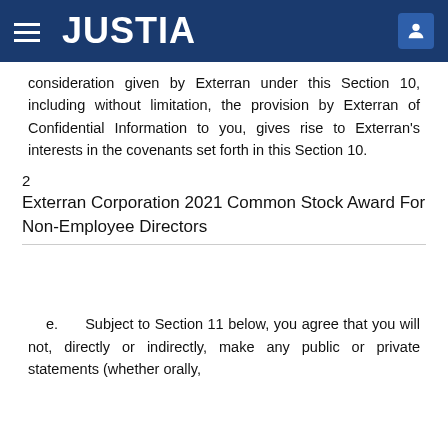JUSTIA
consideration given by Exterran under this Section 10, including without limitation, the provision by Exterran of Confidential Information to you, gives rise to Exterran's interests in the covenants set forth in this Section 10.
2
Exterran Corporation 2021 Common Stock Award For Non-Employee Directors
e.      Subject to Section 11 below, you agree that you will not, directly or indirectly, make any public or private statements (whether orally,